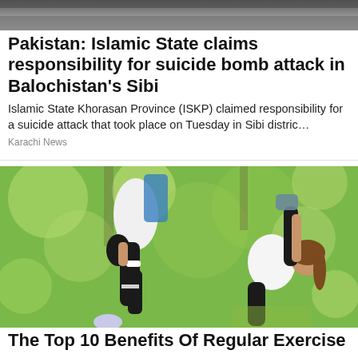[Figure (photo): Grayscale/dark blurred image at top of page, appears to be an outdoor scene]
Pakistan: Islamic State claims responsibility for suicide bomb attack in Balochistan's Sibi
Islamic State Khorasan Province (ISKP) claimed responsibility for a suicide attack that took place on Tuesday in Sibi distric…
Karachi News
[Figure (photo): Two women exercising outdoors in a green park setting. One woman is running/jogging with raised knee, wearing white top and black leggings. A second woman is on the ground doing a stretching/yoga pose with one leg raised high, wearing white top and black leggings.]
The Top 10 Benefits Of Regular Exercise